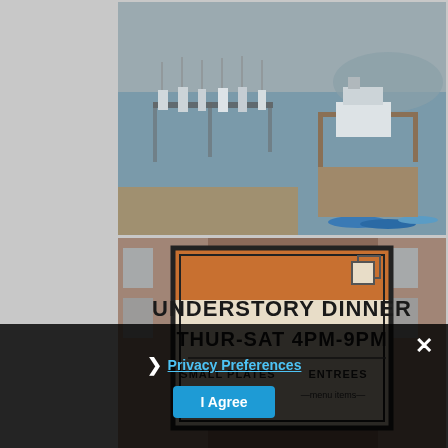[Figure (photo): Harbor/marina scene with sailboats docked at piers, foggy headlands in the background, small beach area with kayaks in foreground]
[Figure (photo): Restaurant sign reading 'UNDERSTORY DINNER THUR-SAT 4PM-9PM' with 'SMALL PLATES' and 'ENTREES' sections visible, partially cut off at bottom]
Privacy Preferences
I Agree